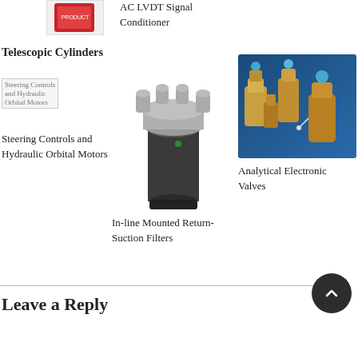[Figure (photo): Small product image top left (AC LVDT signal conditioner box)]
AC LVDT Signal Conditioner
Telescopic Cylinders
[Figure (photo): Broken image placeholder for Steering Controls and Hydraulic Orbital Motors]
Steering Controls and Hydraulic Orbital Motors
[Figure (photo): In-line mounted return-suction filter product photo]
In-line Mounted Return-Suction Filters
[Figure (photo): Analytical electronic valves product photo showing brass valve components on blue background]
Analytical Electronic Valves
Leave a Reply